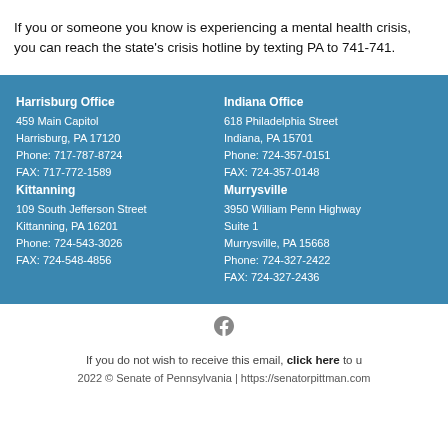If you or someone you know is experiencing a mental health crisis, you can reach the state's crisis hotline by texting PA to 741-741.
Harrisburg Office
459 Main Capitol
Harrisburg, PA 17120
Phone: 717-787-8724
FAX: 717-772-1589

Kittanning
109 South Jefferson Street
Kittanning, PA 16201
Phone: 724-543-3026
FAX: 724-548-4856

Indiana Office
618 Philadelphia Street
Indiana, PA 15701
Phone: 724-357-0151
FAX: 724-357-0148

Murrysville
3950 William Penn Highway Suite 1
Murrysville, PA 15668
Phone: 724-327-2422
FAX: 724-327-2436
If you do not wish to receive this email, click here to unsubscribe.
2022 © Senate of Pennsylvania | https://senatorpittman.com